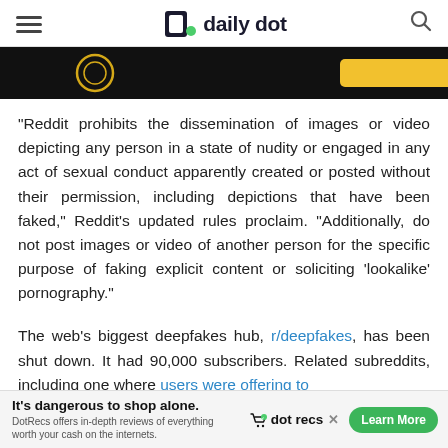daily dot
[Figure (screenshot): Partial banner image with dark background, showing yellow circular element on left and yellow button shape on right]
“Reddit prohibits the dissemination of images or video depicting any person in a state of nudity or engaged in any act of sexual conduct apparently created or posted without their permission, including depictions that have been faked,” Reddit’s updated rules proclaim. “Additionally, do not post images or video of another person for the specific purpose of faking explicit content or soliciting ‘lookalike’ pornography.”
The web’s biggest deepfakes hub, r/deepfakes, has been shut down. It had 90,000 subscribers. Related subreddits, including one where users were offering to
[Figure (advertisement): Ad banner: It’s dangerous to shop alone. dot recs. DotRecs offers in-depth reviews of everything worth your cash on the internets. Learn More button.]